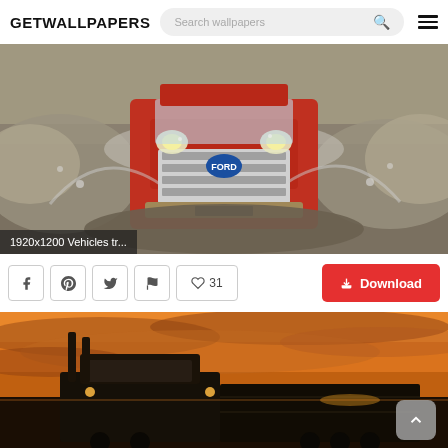GETWALLPAPERS — Search wallpapers
[Figure (photo): Red Ford truck driving through muddy water splash, front view]
1920x1200 Vehicles tr...
Facebook share button
Pinterest share button
Twitter share button
Flag button
Heart / Like 31
Download button
[Figure (photo): Semi truck silhouetted against dramatic orange sunset sky]